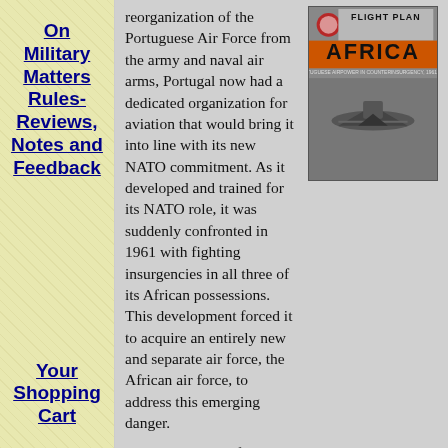On Military Matters Rules-Reviews, Notes and Feedback
Your Shopping Cart
[Figure (illustration): Book cover of 'Flight Plan Africa' showing a plane, with orange and gray color scheme]
reorganization of the Portuguese Air Force from the army and naval air arms, Portugal now had a dedicated organization for aviation that would bring it into line with its new NATO commitment. As it developed and trained for its NATO role, it was suddenly confronted in 1961 with fighting insurgencies in all three of its African possessions. This development forced it to acquire an entirely new and separate air force, the African air force, to address this emerging danger.
This is the story of just how Portuguese leadership anticipated and dealt with this threat, and how it assembled an air force from scratch to meet it. The aircraft available at the time were largely castoffs from the larger, richer, and more sophisticated air forces of its NATO partners and not designed for counterinsurgency. Yet Portugal adapted them